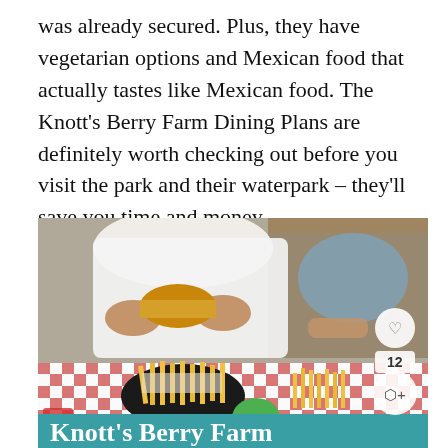was already secured. Plus, they have vegetarian options and Mexican food that actually tastes like Mexican food. The Knott's Berry Farm Dining Plans are definitely worth checking out before you visit the park and their waterpark – they'll save you time and money.
[Figure (photo): Overhead photo of two people eating at a table with red-checked tablecloth. One person in a white shirt is biting into a burger, with a basket of french fries in front. A child to the right is also eating fries. A teal/turquoise banner at the bottom reads 'Knott's Berry Farm' in white bold text. Social interaction icons (heart, share, count 12) are visible in the bottom-right corner.]